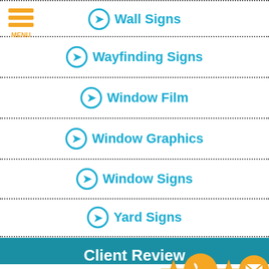[Figure (logo): Orange hamburger menu icon with three horizontal bars and MENU text below]
Wall Signs
Wayfinding Signs
Window Film
Window Graphics
Window Signs
Yard Signs
Client Review
Great service and